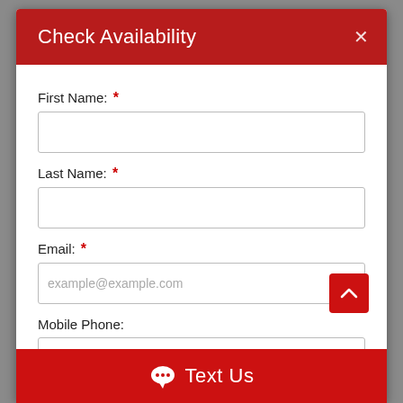Check Availability
First Name: *
Last Name: *
Email: *
example@example.com
Mobile Phone:
Text Us